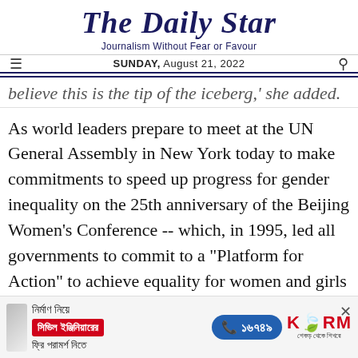The Daily Star
Journalism Without Fear or Favour
SUNDAY, August 21, 2022
believe this is the tip of the iceberg,' she added.
As world leaders prepare to meet at the UN General Assembly in New York today to make commitments to speed up progress for gender inequality on the 25th anniversary of the Beijing Women's Conference -- which, in 1995, led all governments to commit to a "Platform for Action" to achieve equality for women and girls --, Save the Children is calling on them to raise girls'
[Figure (advertisement): KSRM advertisement in Bengali about civil engineering consultation, with phone number 16749]